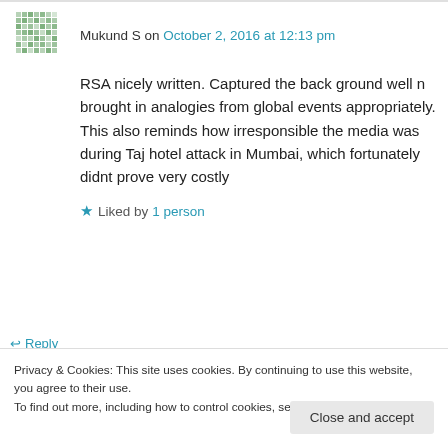Mukund S on October 2, 2016 at 12:13 pm
RSA nicely written. Captured the back ground well n brought in analogies from global events appropriately. This also reminds how irresponsible the media was during Taj hotel attack in Mumbai, which fortunately didnt prove very costly
Liked by 1 person
Reply
Privacy & Cookies: This site uses cookies. By continuing to use this website, you agree to their use. To find out more, including how to control cookies, see here: Cookie Policy
Close and accept